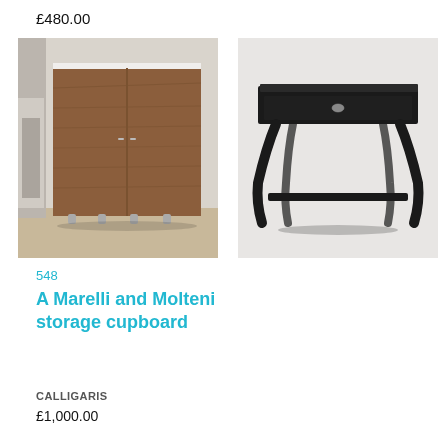£480.00
£1,350.00
[Figure (photo): A Marelli and Molteni walnut storage cupboard with chrome feet, two doors, photographed in a room]
[Figure (photo): Helen Green small black lacquered nightstand with curved legs and single drawer with silver handle]
548
612
A Marelli and Molteni storage cupboard
Helen Green small nightstand
CALLIGARIS
£1,000.00
HELEN GREEN
£450.00